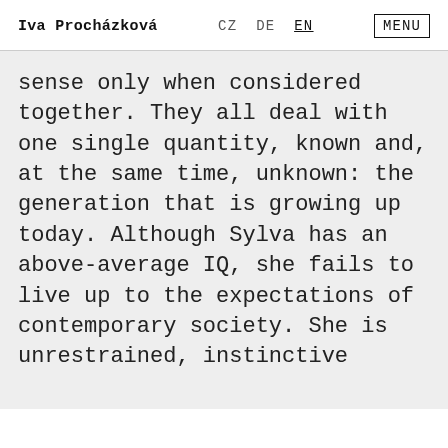Iva Procházková   CZ DE EN   MENU
sense only when considered together. They all deal with one single quantity, known and, at the same time, unknown: the generation that is growing up today. Although Sylva has an above-average IQ, she fails to live up to the expectations of contemporary society. She is unrestrained, instinctive